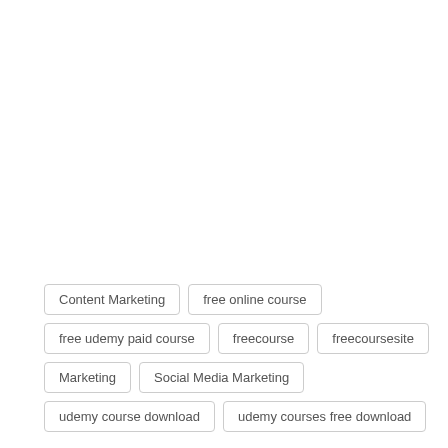Content Marketing
free online course
free udemy paid course
freecourse
freecoursesite
Marketing
Social Media Marketing
udemy course download
udemy courses free download